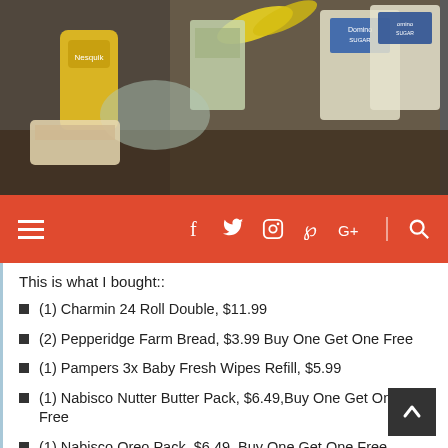[Figure (photo): Grocery items including Domino sugar bags, Nesquik, bananas, and other products on a table.]
Navigation bar with hamburger menu and social icons: f (Facebook), Twitter bird, Instagram, Pinterest, Google+, search
This is what I bought::
(1) Charmin 24 Roll Double, $11.99
(2) Pepperidge Farm Bread, $3.99 Buy One Get One Free
(1) Pampers 3x Baby Fresh Wipes Refill, $5.99
(1) Nabisco Nutter Butter Pack, $6.49,Buy One Get One Free
(1) Nabisco Oreo Pack, $6.49, Buy One Get One Free
(2) Domino 4 lb. Sugar, $1.99 each